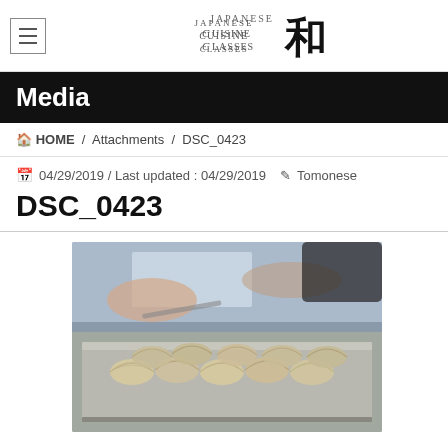Japanese Cuisine Classes 和
Media
HOME / Attachments / DSC_0423
04/29/2019 / Last updated : 04/29/2019  Tomonese
DSC_0423
[Figure (photo): Close-up photograph of Japanese gyoza dumplings arranged on a metal tray, with hands visible in the background preparing them.]